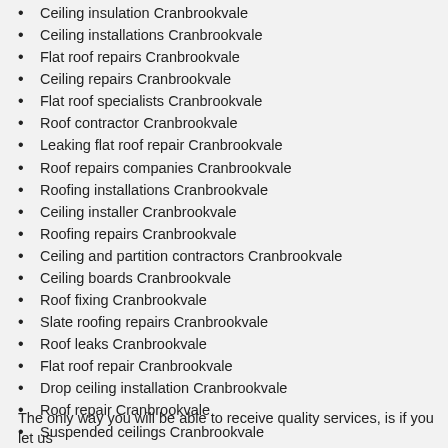Ceiling insulation Cranbrookvale
Ceiling installations Cranbrookvale
Flat roof repairs Cranbrookvale
Ceiling repairs Cranbrookvale
Flat roof specialists Cranbrookvale
Roof contractor Cranbrookvale
Leaking flat roof repair Cranbrookvale
Roof repairs companies Cranbrookvale
Roofing installations Cranbrookvale
Ceiling installer Cranbrookvale
Roofing repairs Cranbrookvale
Ceiling and partition contractors Cranbrookvale
Ceiling boards Cranbrookvale
Roof fixing Cranbrookvale
Slate roofing repairs Cranbrookvale
Roof leaks Cranbrookvale
Flat roof repair Cranbrookvale
Drop ceiling installation Cranbrookvale
Roof repair Cranbrookvale
Suspended ceilings Cranbrookvale
Roof contractor Cranbrookvale
Roof repairs Cranbrookvale
Roof repair contractors Cranbrookvale
Ceiling fitters Cranbrookvale
Pvc ceiling sound insulation Cranbrookvale
The only way you will be able to receive quality services, is if you let us